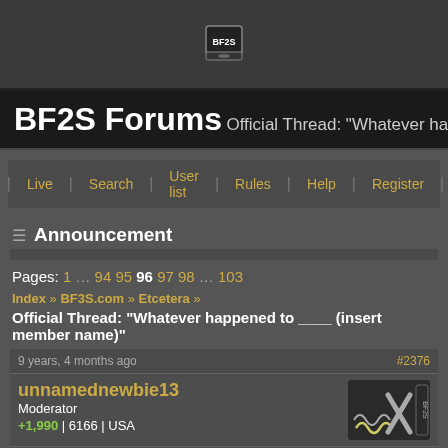BF2S Forums — Official Thread: "Whatever happened to ____ (insert member name)"
Home | Live | Search | User list | Rules | Help | Register | Login
Announcement
Pages: 1 … 94 95 96 97 98 … 103
Index » BF3S.com » Etcetera »
Official Thread: "Whatever happened to ____ (insert member name)"
9 years, 4 months ago    #2376
unnamednewbie13
Moderator
+1,990 | 6166 | USA
o.O

Wtf guys, I was only gone for like a week?